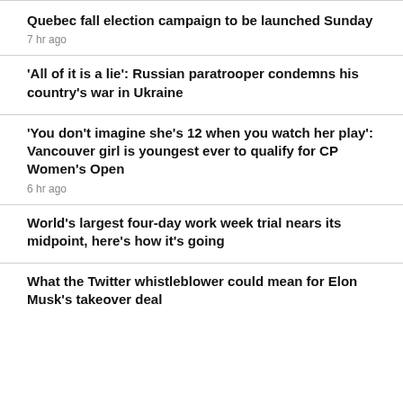Quebec fall election campaign to be launched Sunday
7 hr ago
'All of it is a lie': Russian paratrooper condemns his country's war in Ukraine
'You don't imagine she's 12 when you watch her play': Vancouver girl is youngest ever to qualify for CP Women's Open
6 hr ago
World's largest four-day work week trial nears its midpoint, here's how it's going
What the Twitter whistleblower could mean for Elon Musk's takeover deal